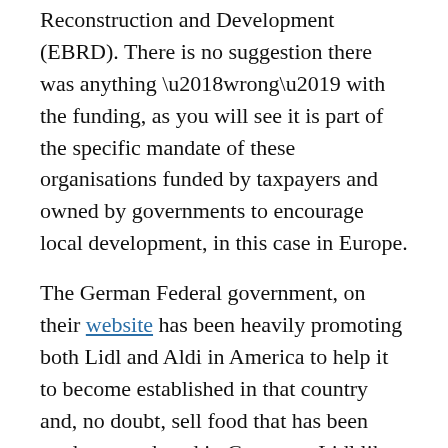Reconstruction and Development (EBRD). There is no suggestion there was anything ‘wrong’ with the funding, as you will see it is part of the specific mandate of these organisations funded by taxpayers and owned by governments to encourage local development, in this case in Europe.
The German Federal government, on their website has been heavily promoting both Lidl and Aldi in America to help it to become established in that country and, no doubt, sell food that has been made or produced in Germany. Lidl like Aldi, also sell a range of German made hardware, electrical goods and many other things.